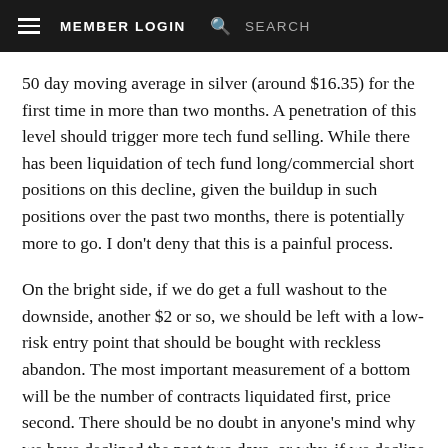≡  MEMBER LOGIN  🔍  SEARCH
50 day moving average in silver (around $16.35) for the first time in more than two months. A penetration of this level should trigger more tech fund selling. While there has been liquidation of tech fund long/commercial short positions on this decline, given the buildup in such positions over the past two months, there is potentially more to go. I don't deny that this is a painful process.
On the bright side, if we do get a full washout to the downside, another $2 or so, we should be left with a low-risk entry point that should be bought with reckless abandon. The most important measurement of a bottom will be the number of contracts liquidated first, price second. There should be no doubt in anyone's mind why we have declined the past two days, or why, if we decline a lot more, the reason for the decline. It's because of the structure on the COMEX. These big shorts need to close